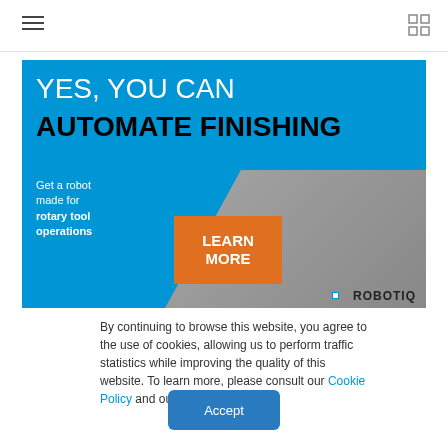≡ (hamburger menu) | grid icon
[Figure (infographic): Robotiq advertisement banner: blue header with text 'YES, YOU CAN AUTOMATE FINISHING', robotic arm machinery background, blue section with text 'Get a robot made for rotary tool operations', orange 'LEARN MORE' button, Robotiq logo bottom right.]
By continuing to browse this website, you agree to the use of cookies, allowing us to perform traffic statistics while improving the quality of this website. To learn more, please consult our Cookie Policy and our Privacy Policy.
Accept